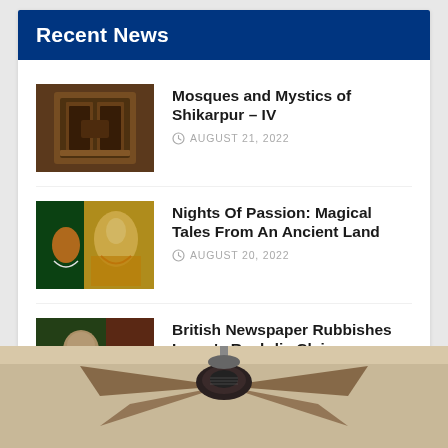Recent News
[Figure (photo): Wooden furniture/shrine photo thumbnail]
Mosques and Mystics of Shikarpur – IV
AUGUST 21, 2022
[Figure (photo): Colorful painting of classical Indian dance scene thumbnail]
Nights Of Passion: Magical Tales From An Ancient Land
AUGUST 20, 2022
[Figure (photo): Portrait of Imran Khan speaking thumbnail]
British Newspaper Rubbishes Imran's Rushdie Claims
AUGUST 20, 2022
[Figure (photo): Ceiling fan photo at the bottom of the page]